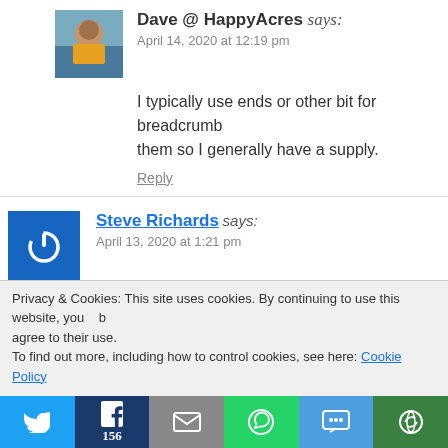Dave @ HappyAcres says: April 14, 2020 at 12:19 pm
I typically use ends or other bit for breadcrumbs them so I generally have a supply.
Reply
Steve Richards says: April 13, 2020 at 1:21 pm
Weeks before the lockdown I managed to stock up on m for month, baking a batch a week. Our PSB is coming t
Privacy & Cookies: This site uses cookies. By continuing to use this website, you agree to their use. To find out more, including how to control cookies, see here: Cookie Policy